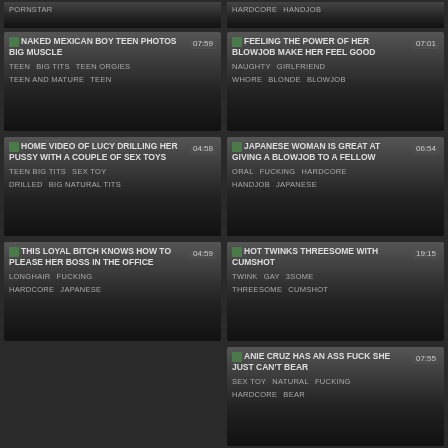[Figure (screenshot): Top strip showing tags: PORNSTAR on left; HARDCORE HANDJOB on right]
[Figure (screenshot): Video thumbnail card: NAKED MEXICAN BOY TEEN PHOTOS BIG MUSCLE, 07:59, tags: TEEN BIG TITS TEEN ORGIES TEEN AND MATURE TEEN]
[Figure (screenshot): Video thumbnail card: FEELING THE POWER OF HER BLOWJOB MAKE HER FEEL GOOD, 07:01, tags: NAUGHTY GIRLFRIEND WHORE BLONDE BLOWJOB]
[Figure (screenshot): Video thumbnail card: HOME VIDEO OF LUCY DRILLING HER PUSSY WITH A COUPLE OF SEX TOYS, 04:58, tags: TEEN BIG TITS SEX TOY DRILLED BIG NATURAL TITS]
[Figure (screenshot): Video thumbnail card: JAPANESE WOMAN IS GREAT AT GIVING A BLOWJOB TO A FELLOW, 06:54, tags: ORAL FUCKING HARDCORE HANDJOB JAPANESE]
[Figure (screenshot): Video thumbnail card: THIS LOYAL BITCH KNOWS HOW TO PLEASE HER BOSS IN THE OFFICE, 04:59, tags: LONGHAIR FUCKING HARDCORE JAPANESE]
[Figure (screenshot): Video thumbnail card: HOT TWINKS THREESOME WITH CUMSHOT, 19:15, tags: TWINK GAY 3SOME THREESOME CUMSHOT]
[Figure (screenshot): Video thumbnail card: ANIE CRUZ HAS AN ASS FUCK SHE JUST CAN'T BEAR, 07:55, tags: SEX TOY NATURAL FUCKING HARDCORE BEAR]